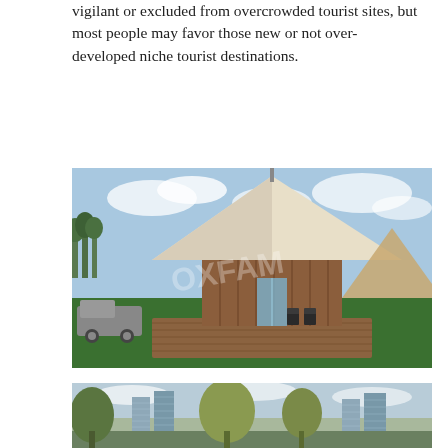vigilant or excluded from overcrowded tourist sites, but most people may favor those new or not over-developed niche tourist destinations.
[Figure (photo): A glamping or luxury tent structure with a high conical white roof, wooden cylindrical walls, glass doors, and a wooden deck. A vehicle and trailer are visible on the left. Another large tan tent structure is in the background to the right. Green lawn and blue sky with clouds.]
[Figure (photo): Urban scene with trees in the foreground and tall residential buildings/skyscrapers in the background under a cloudy sky. The image is partially cropped at the bottom of the page.]